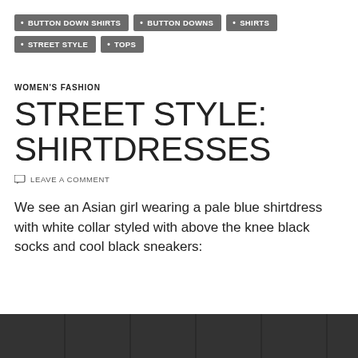BUTTON DOWN SHIRTS
BUTTON DOWNS
SHIRTS
STREET STYLE
TOPS
WOMEN'S FASHION
STREET STYLE: SHIRTDRESSES
LEAVE A COMMENT
We see an Asian girl wearing a pale blue shirtdress with white collar styled with above the knee black socks and cool black sneakers:
[Figure (photo): Bottom strip of a dark/black brick wall photo, partially visible]